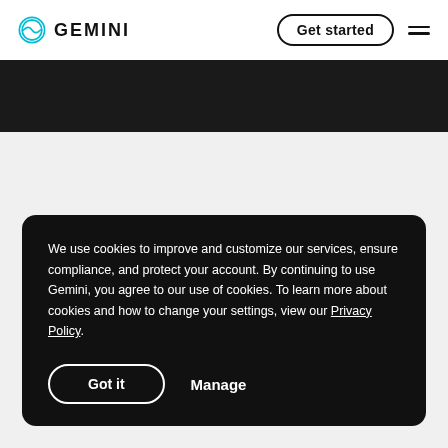GEMINI — Get started
We use cookies to improve and customize our services, ensure compliance, and protect your account. By continuing to use Gemini, you agree to our use of cookies. To learn more about cookies and how to change your settings, view our Privacy Policy.
Got it  Manage